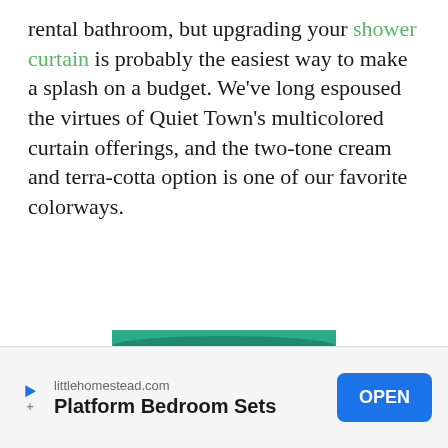rental bathroom, but upgrading your shower curtain is probably the easiest way to make a splash on a budget. We've long espoused the virtues of Quiet Town's multicolored curtain offerings, and the two-tone cream and terra-cotta option is one of our favorite colorways.
[Figure (photo): An orange and teal/green glass or ceramic vessel with a wide cylindrical orange top portion and a narrower teal bottom section, photographed on a white background.]
littlehomestead.com Platform Bedroom Sets OPEN